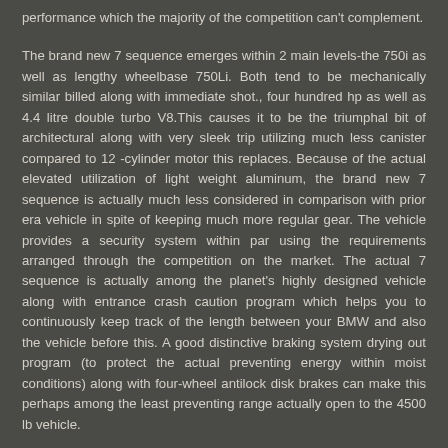performance which the majority of the competition can't complement.
The brand new 7 sequence emerges within 2 main levels-the 750i as well as lengthy wheelbase 750Li. Both tend to be mechanically similar billed along with immediate shot., four hundred hp as well as 4.4 litre double turbo V8.This causes it to be the triumphal bit of architectural along with very sleek trip utilizing much less canister compared to 12 -cylinder motor this replaces. Because of the actual elevated utilization of light weight aluminum, the brand new 7 sequence is actually much less considered in comparison with prior era vehicle in spite of keeping much more regular gear. The vehicle provides a security system within par using the requirements arranged through the competition on the market. The actual 7 sequence is actually among the planet's highly designed vehicle along with entrance crash caution program which helps you to continuously keep track of the length between your BMW and also the vehicle before this. A good distinctive braking system drying out program (to protect the actual preventing energy within moist conditions) along with four-wheel antilock disk brakes can make this perhaps among the least preventing range actually open to the 4500 lb vehicle.
Although each and every evaluation good remarks the vehicle because of its cornering expertise, critics possess set lower their own on the job the